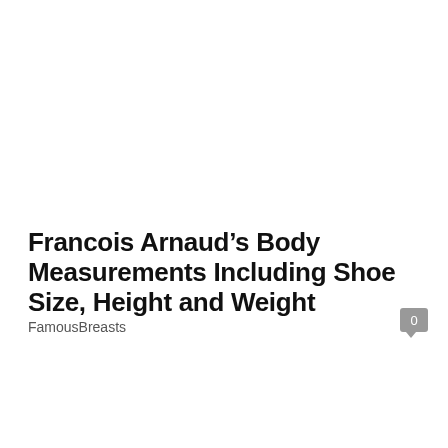Francois Arnaud’s Body Measurements Including Shoe Size, Height and Weight
FamousBreasts